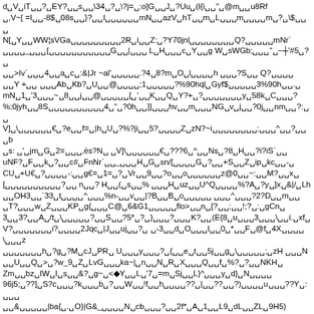d␣V␣iT␣␣?␣EY?␣␣s␣␣\34␣?␣\?j=␣:o]G␣␣J␣?Uu␣(l{i␣␣"␣@m␣␣u8Rf
␣,V~[ =I␣␣-8$␣08s␣␣}?␣␣I␣␣␣␣␣␣mN␣␣azV␣hT␣␣m␣L␣␣␣m␣␣␣␣m␣?␣\$␣␣␣
N[␣Y␣␣WW¦sVGa␣␣␣␣␣␣␣␣␣2R␣i␣␣Z:␣?Y70jnl␣␣␣␣␣␣␣␣Q?␣␣␣␣␣mNr`
␣␣␣␣_␣␣␣[␣␣␣␣␣␣␣␣␣␣␣G␣␣|␣␣␣ L␣H␣␣␣c␣Y␣␣g W␣sWGb;␣␣␣"␣−┼'#5␣?␣
␣␣>Iv`␣␣␣4␣␣a␣c␣:&|Jr ~al'␣␣␣␣␣.?4␣8?m␣O␣l␣␣␣␣h ␣␣␣?S␣␣ Q?␣␣␣␣
␣␣Y +␣␣ ␣␣␣Ab␣Kb?␣U␣␣@␣␣␣␣;1␣␣␣␣␣?%90hql␣Gyf$␣␣␣␣␣3%90h␣␣.␣
mN␣1␣'3␣␣␣~␣8␣␣j␣␣@␣␣␣␣␣[␣'␣␣K␣␣Q␣Y?+␣?␣␣␣␣␣␣␣y␣58k␣C␣␣␣?
%;0jyh␣␣8S␣␣␣␣␣␣␣␣␣␣4␣"␣?0h␣␣]]␣␣␣hv␣␣m␣␣␣NG␣v␣j␣␣?0j␣␣nm␣␣?:␣␣
V]␣\␣␣␣␣␣␣€␣?e␣␣f=␣|h␣U␣?%?ji␣␣5?␣␣␣␣Z␣zN?~i␣␣␣␣␣␣␣␣;␣␣␣^␣␣?␣␣␣b
␣s: ␣'␣jm␣G␣2=␣␣␣,ës?N␣ ␣V]\␣␣␣␣␣␣€␣???6␣^␣␣Ns␣?8␣H␣␣?i?iS`␣␣
uNF?␣F␣␣k␣?␣␣c#␣FnNr`␣␣_␣␣␣H␣G␣sn/[␣␣␣␣G␣?␣␣+S␣␣Z␣ip␣kc␣␣-␣
CU␣+U€␣?␣␣␣␣-:␣␣g€=␣1=␣?␣Vr␣␣9␣␣?o␣␣o␣␣␣␣␣␣z@0␣␣~:␣␣M?␣␣x␣
[␣␣␣␣␣␣␣␣␣␣?␣␣ n␣␣? H␣␣(␣s␣␣% ␣␣␣H␣uz␣␣U^Q␣␣␣␣%?A␣?y␣]x␣&|/␣Lh
␣␣OH3␣␣`33␣t␣␣␣␣^␣␣␣%n-␣␣v␣␣|?B␣␣B␣o␣␣␣␣␣ ␣␣␣^␣␣␣?2?D␣␣m␣␣
␣T?␣␣␣w␣Z␣␣␣KP␣g{␣␣␣C@␣6&G1␣␣␣␣␣flo>␣␣n␣[?␣␣;␣␣!;?␣:␣gCn␣
3␣␣3?␣␣A␣/t␣\␣␣␣␣␣?␣␣S␣␣?5*␣?␣}␣␣␣?␣␣␣K?␣␣(E{8␣u␣␣␣3␣␣␣\␣␣i.␣xf␣
V?␣␣␣␣␣␣␣i?␣␣␣␣2Jqc␣|J␣␣uj␣␣?␣ ␣-3␣␣d␣O␣␣␣l␣␣0␣*␣␣F␣@f␣4X␣␣␣␣\␣␣␣z
␣␣␣␣␣␣␣h␣?g␣?M␣cJ␣PR␣ U␣␣␣y␣␣␣?␣{␣␣e␣t␣␣5j␣␣g␣\␣␣␣␣␣;␣zH ␣␣␣N
␣␣U␣␣Q␣>␣?w_9␣Z␣LvG␣␣␣ka~|␣n␣␣N␣R␣X␣␣␣Q␣␣f␣%?␣?␣␣NKH␣
Zm␣␣bz␣IW␣I␣s␣␣&?␣g~␣<◆Y␣␣L␣'7␣=m␣Sj␣␣L}^␣␣␣y␣d}␣N␣␣␣␣
96j5;␣??]␣S?c␣␣␣?k␣␣␣b␣?␣␣W␣␣!f␣␣h␣␣␣␣??␣|␣␣??␣␣?)␣␣␣␣u␣␣␣??Y␣:␣␣␣
␣␣&␣␣␣␣␣|ba{␣.␣O}|G&_␣␣␣␣N␣cb␣␣␣?␣␣2f*␣A␣1␣␣L9␣dL␣␣ZL␣9H5)
␣:L␣␣␣␣j␣S4j␣␣␣jvA␣␣w␣␣G3i4␣>␣␣␣␣␣␣Q␣V␣0␣Q␣␣2␣B␣ ␣␣␣␣V␣␣␣␣␣␣␣
␣␣␣␣?␣6?␣?␣␣␣␣␣␣␣␣␣␣␣␣␣␣K␣?s␣␣␣␣␣␣n`V␣5␣␣␣3␣yo␣␣␣␣a␣␣F␣␣␣␣␣␣␣␣␣␣?
␣rW␣6? ␣␣␣?␣Z␣4␣t␣␣2g␣␣␣)␣Jv?F?␣Mg␣␣␣ ␣␣H??␣w␣^?g␣␣␣␣X␣␣?>